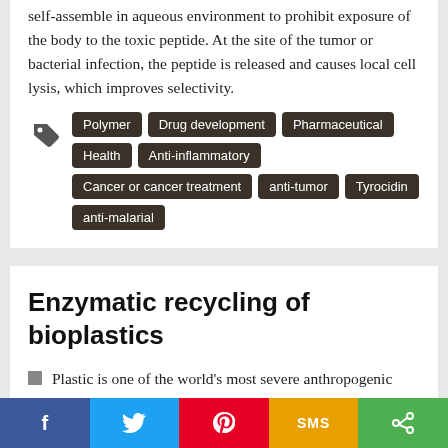self-assemble in aqueous environment to prohibit exposure of the body to the toxic peptide. At the site of the tumor or bacterial infection, the peptide is released and causes local cell lysis, which improves selectivity.
Polymer
Drug development
Pharmaceutical
Health
Anti-inflammatory
Cancer or cancer treatment
anti-tumor
Tyrocidin
anti-malarial
Enzymatic recycling of bioplastics
Plastic is one of the world's most severe anthropogenic pollutants. Bioplastics were